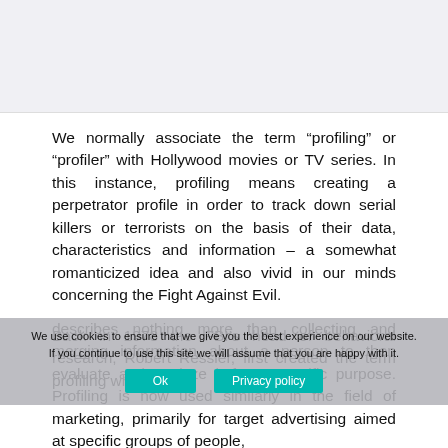[Figure (other): Light gray placeholder image area at the top of the page]
We normally associate the term “profiling” or “profiler” with Hollywood movies or TV series. In this instance, profiling means creating a perpetrator profile in order to track down serial killers or terrorists on the basis of their data, characteristics and information – a somewhat romanticized idea and also vivid in our minds concerning the Fight Against Evil.
Back in 1978 the FBI’s head of behavioral research, Robert Ressler, first created the term profiling which describes nothing more than collecting and merging information about a person to then evaluate and analyze it for a specific purpose. Profiling is now used similarly in the field of marketing, primarily for target advertising aimed at specific groups of people,
We use cookies to ensure that we give you the best experience on our website. If you continue to use this site we will assume that you are happy with it.